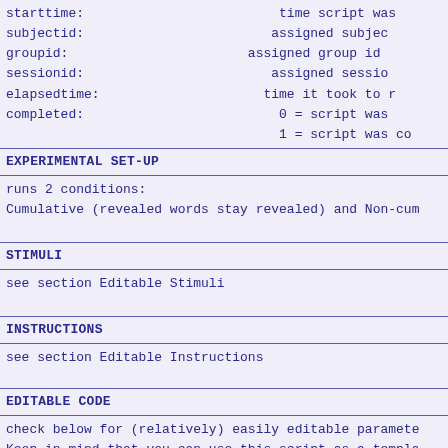starttime:                           time script was
subjectid:                          assigned subjec
groupid:                           assigned group id
sessionid:                           assigned sessio
elapsedtime:                      time it took to r
completed:                           0 = script was
                                     1 = script was co
EXPERIMENTAL SET-UP
runs 2 conditions:
Cumulative (revealed words stay revealed) and Non-cum
STIMULI
see section Editable Stimuli
INSTRUCTIONS
see section Editable Instructions
EDITABLE CODE
check below for (relatively) easily editable paramete
Keep in mind that you can use this script as a templa